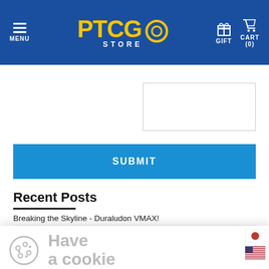MENU | PTCGO STORE | GIFT | CART (0)
[Figure (screenshot): White input box (form field) in the upper right area of the page]
[Figure (screenshot): Blue SUBMIT button]
Recent Posts
Breaking the Skyline - Duraludon VMAX!
"Thin Ice" - Ice Rider Calyrex VMAX with Astral Radiance
Top 3 Decks Heading into Worlds 2022
[Figure (screenshot): Cookie consent popup with cookie icon, 'Have a cookie' heading, accept text and 'I Accept' button. Also shows Japanese and US flag icons.]
Accept the use of cookies on this site more information
I Accept